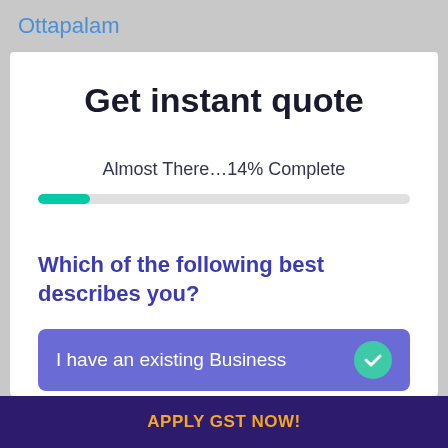Ottapalam
Get instant quote
Almost There…14% Complete
[Figure (infographic): A horizontal progress bar showing 14% completion. The filled portion is teal/green and the remaining portion is light gray.]
Which of the following best describes you?
I have an existing Business
APPLY GST NOW!